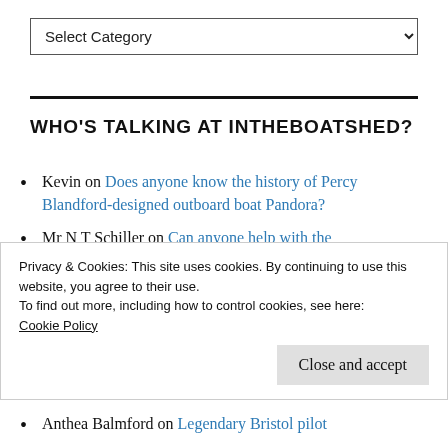Select Category (dropdown)
WHO'S TALKING AT INTHEBOATSHED?
Kevin on Does anyone know the history of Percy Blandford-designed outboard boat Pandora?
Mr N T Schiller on Can anyone help with the history of...
Privacy & Cookies: This site uses cookies. By continuing to use this website, you agree to their use.
To find out more, including how to control cookies, see here:
Cookie Policy
Close and accept
Anthea Balmford on Legendary Bristol pilot